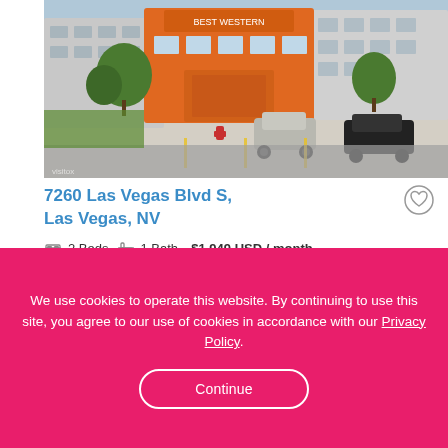[Figure (photo): Exterior photo of an apartment complex at 7260 Las Vegas Blvd S with orange accent building, parking lot with cars, trees and landscaping.]
7260 Las Vegas Blvd S, Las Vegas, NV
2 Beds  1 Bath  $1,949 USD / month
Refrigerator   Microwave
Air Conditioning   Furnished
We use cookies to operate this website. By continuing to use this site, you agree to our use of cookies in accordance with our Privacy Policy.
Continue